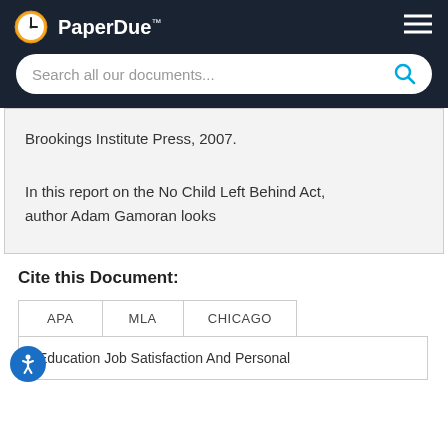PaperDue™
Brookings Institute Press, 2007.
In this report on the No Child Left Behind Act, author Adam Gamoran looks
Cite this Document:
| APA | MLA | CHICAGO |
| --- | --- | --- |
"Education Job Satisfaction And Personal